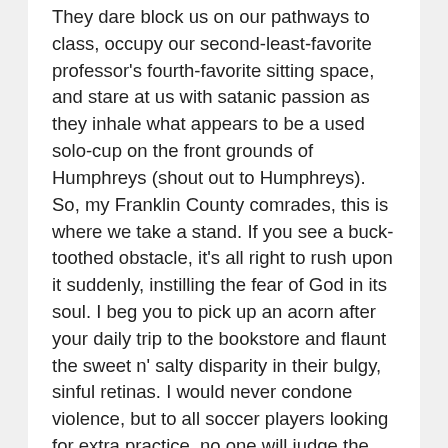They dare block us on our pathways to class, occupy our second-least-favorite professor's fourth-favorite sitting space, and stare at us with satanic passion as they inhale what appears to be a used solo-cup on the front grounds of Humphreys (shout out to Humphreys). So, my Franklin County comrades, this is where we take a stand. If you see a buck-toothed obstacle, it's all right to rush upon it suddenly, instilling the fear of God in its soul. I beg you to pick up an acorn after your daily trip to the bookstore and flaunt the sweet n' salty disparity in their bulgy, sinful retinas. I would never condone violence, but to all soccer players looking for extra practice, no one will judge the loss of a tiny wicked life that always seemed to be in the way.